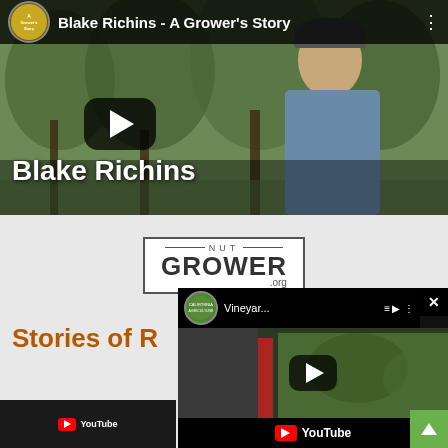[Figure (screenshot): YouTube video thumbnail showing Blake Richins - A Grower's Story. A young man in a blue plaid shirt and baseball cap stands in an orchard. The video title bar shows the channel icon and title 'Blake Richins - A Grower's Story' with a play button overlay. Text 'Blake Richins' appears at the bottom left of the thumbnail.]
[Figure (logo): Nut Grower .org logo in a bordered box with 'NUT' in small spaced letters at the top and 'GROWER' in large bold text below, followed by '.org']
Stories of R...s
[Figure (screenshot): Popup YouTube video player showing a vineyard video from California Agriculture channel titled 'Vineyar...' with play button and YouTube logo at the bottom. A close (X) button appears in the top right corner.]